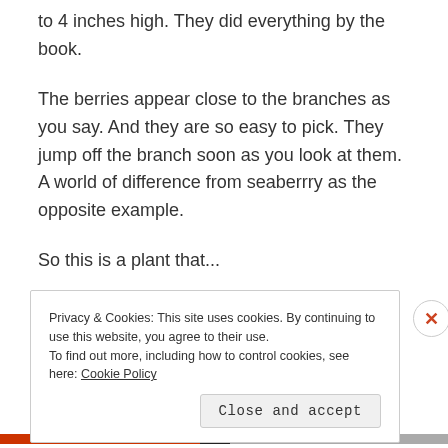to 4 inches high. They did everything by the book.
The berries appear close to the branches as you say. And they are so easy to pick. They jump off the branch soon as you look at them. A world of difference from seaberrry as the opposite example.
So this is a plant that...
Privacy & Cookies: This site uses cookies. By continuing to use this website, you agree to their use.
To find out more, including how to control cookies, see here: Cookie Policy
Close and accept